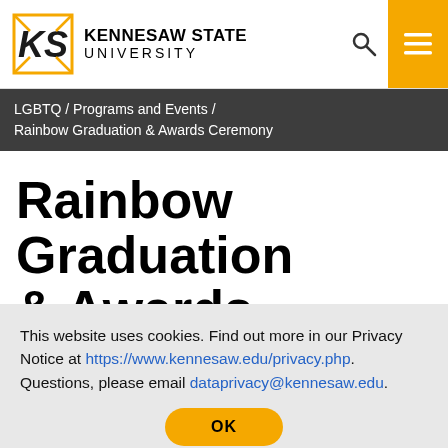KENNESAW STATE UNIVERSITY
LGBTQ / Programs and Events / Rainbow Graduation & Awards Ceremony
Rainbow Graduation & Awards Ceremony
This website uses cookies. Find out more in our Privacy Notice at https://www.kennesaw.edu/privacy.php. Questions, please email dataprivacy@kennesaw.edu.
OK